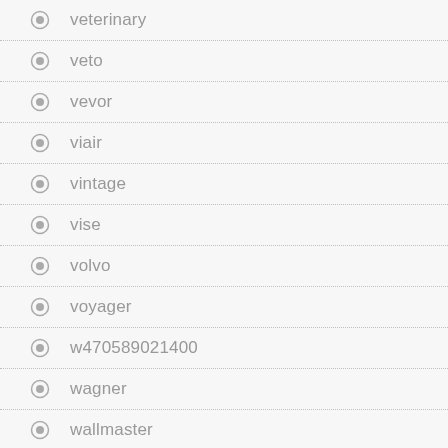veterinary
veto
vevor
viair
vintage
vise
volvo
voyager
w470589021400
wagner
wallmaster